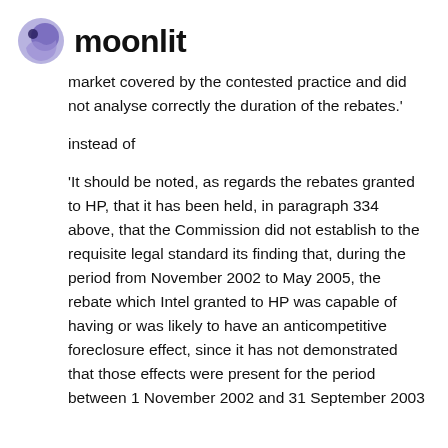moonlit
market covered by the contested practice and did not analyse correctly the duration of the rebates.'
instead of
'It should be noted, as regards the rebates granted to HP, that it has been held, in paragraph 334 above, that the Commission did not establish to the requisite legal standard its finding that, during the period from November 2002 to May 2005, the rebate which Intel granted to HP was capable of having or was likely to have an anticompetitive foreclosure effect, since it has not demonstrated that those effects were present for the period between 1 November 2002 and 31 September 2003